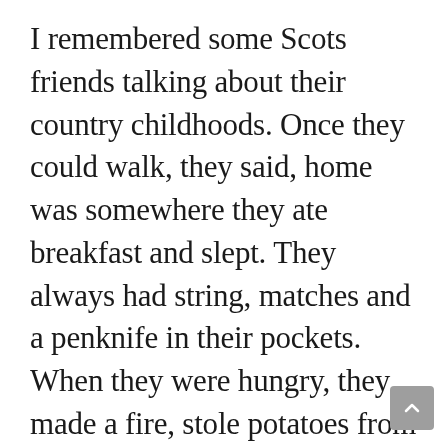I remembered some Scots friends talking about their country childhoods. Once they could walk, they said, home was somewhere they ate breakfast and slept. They always had string, matches and a penknife in their pockets. When they were hungry, they made a fire, stole potatoes from the edge of a field and set them to roast, caught